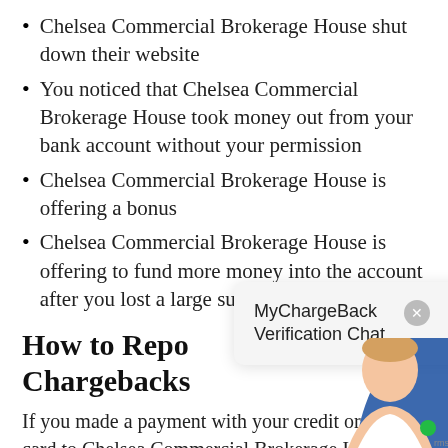Chelsea Commercial Brokerage House shut down their website
You noticed that Chelsea Commercial Brokerage House took money out from your bank account without your permission
Chelsea Commercial Brokerage House is offering a bonus
Chelsea Commercial Brokerage House is offering to fund more money into the account after you lost a large sum
How to Report Chargebacks
If you made a payment with your credit or debit card to Chelsea Commercial Brokerage House, then you qualify to recover your funds with a
MyChargeBack Verification Chat